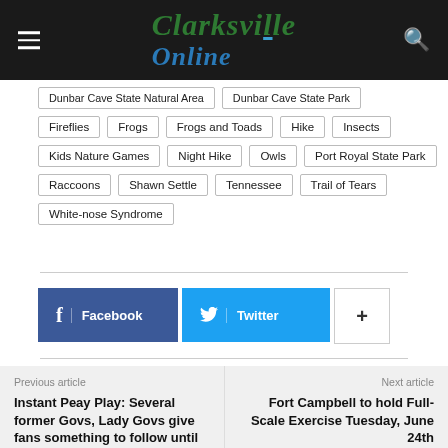Clarksville Online
Dunbar Cave State Natural Area
Dunbar Cave State Park
Fireflies
Frogs
Frogs and Toads
Hike
Insects
Kids Nature Games
Night Hike
Owls
Port Royal State Park
Raccoons
Shawn Settle
Tennessee
Trail of Tears
White-nose Syndrome
Facebook  Twitter  +
Previous article
Instant Peay Play: Several former Govs, Lady Govs give fans something to follow until fall sports
Next article
Fort Campbell to hold Full-Scale Exercise Tuesday, June 24th